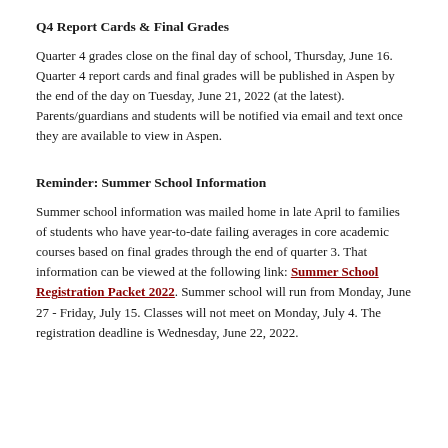Q4 Report Cards & Final Grades
Quarter 4 grades close on the final day of school, Thursday, June 16. Quarter 4 report cards and final grades will be published in Aspen by the end of the day on Tuesday, June 21, 2022 (at the latest). Parents/guardians and students will be notified via email and text once they are available to view in Aspen.
Reminder: Summer School Information
Summer school information was mailed home in late April to families of students who have year-to-date failing averages in core academic courses based on final grades through the end of quarter 3. That information can be viewed at the following link: Summer School Registration Packet 2022. Summer school will run from Monday, June 27 - Friday, July 15. Classes will not meet on Monday, July 4. The registration deadline is Wednesday, June 22, 2022.